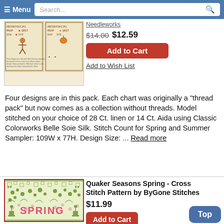Menu | Search...
[Figure (photo): Cross stitch sampler pattern showing alphabet letters ABCDEFGHIJKL MNOP QRST UVW XYZ with decorative motifs, shown in two panels side by side]
Needleworks
$14.00 $12.59
Add to Cart
Add to Wish List
Four designs are in this pack. Each chart was originally a "thread pack" but now comes as a collection without threads. Model stitched on your choice of 28 Ct. linen or 14 Ct. Aida using Classic Colorworks Belle Soie Silk. Stitch Count for Spring and Summer Sampler: 109W x 77H. Design Size: ... Read more
[Figure (photo): Cross stitch pattern showing Quaker Seasons Spring design with green floral and decorative motifs and the word SPRING in pink letters]
Quaker Seasons Spring - Cross Stitch Pattern by ByGone Stitches
$11.99
Add to Cart
Top